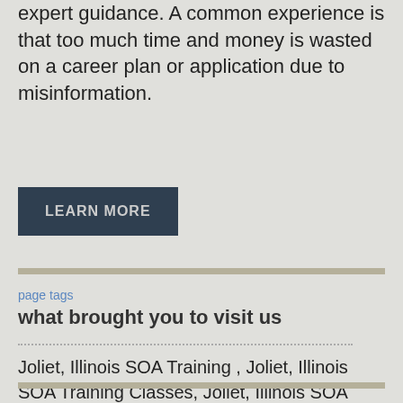expert guidance. A common experience is that too much time and money is wasted on a career plan or application due to misinformation.
LEARN MORE
page tags
what brought you to visit us
Joliet, Illinois SOA Training , Joliet, Illinois SOA Training Classes, Joliet, Illinois SOA Training Courses, Joliet, Illinois SOA Training Course, Joliet, Illinois SOA Training Seminar